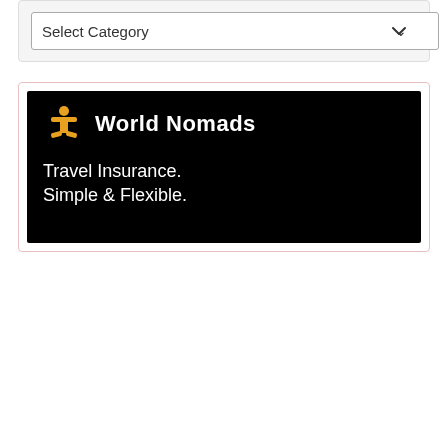[Figure (screenshot): A dropdown select box labeled 'Select Category' with a downward chevron arrow, on a light gray background panel.]
[Figure (logo): World Nomads travel insurance advertisement banner. Black background with the World Nomads logo (golden stylized figure icon and white bold text 'World Nomads') at the top, and white text reading 'Travel Insurance. Simple & Flexible.' below.]
We use cookies on our website to give you the most relevant experience by remembering your preferences and repeat visits. By clicking "Accept All", you consent to the use of ALL the cookies. However, you may visit "Cookie Settings" to provide a controlled consent.
Cookie Settings | Accept All